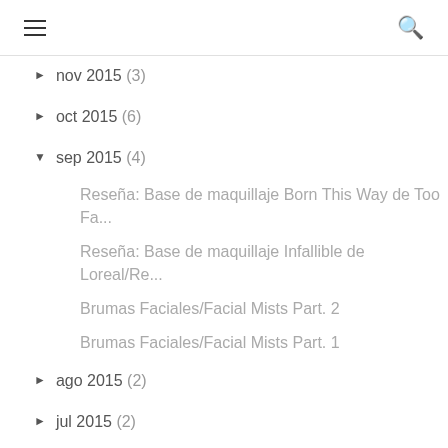☰  🔍
► nov 2015 (3)
► oct 2015 (6)
▼ sep 2015 (4)
Reseña: Base de maquillaje Born This Way de Too Fa...
Reseña: Base de maquillaje Infallible de Loreal/Re...
Brumas Faciales/Facial Mists Part. 2
Brumas Faciales/Facial Mists Part. 1
► ago 2015 (2)
► jul 2015 (2)